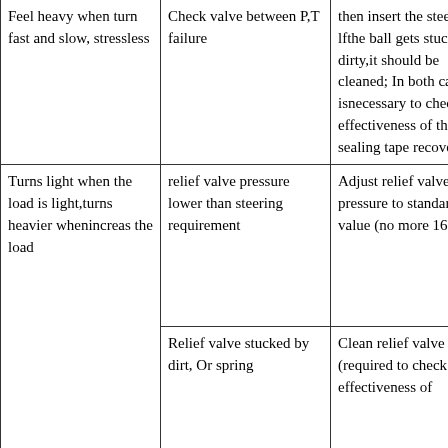| Feel heavy when turn fast and slow, stressless | Check valve between P,T failure | then insert the steel ball; lfthe ball gets stuck dirty,it should be cleaned; In both cases,it isnecessary to check the effectiveness of the sealing tape recovery. |
| Turns light when the load is light,turns heavier whenincreas the load | relief valve pressure lower than steering requirement | Adjust relief valve pressure to standard value (no more 16MPa) |
| Turns light when the load is light,turns heavier whenincreas the load | Relief valve stucked by dirt, Or spring | Clean relief valve (required to check the effectiveness of |